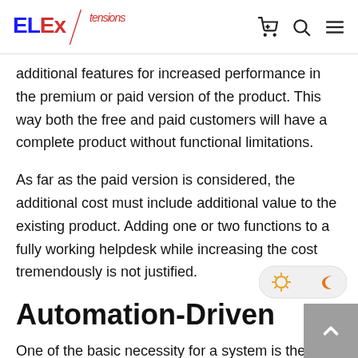ELExtensions
additional features for increased performance in the premium or paid version of the product. This way both the free and paid customers will have a complete product without functional limitations.
As far as the paid version is considered, the additional cost must include additional value to the existing product. Adding one or two functions to a fully working helpdesk while increasing the cost tremendously is not justified.
Automation-Driven
One of the basic necessity for a system is the need to avoid manual tasks. In customer support though, support